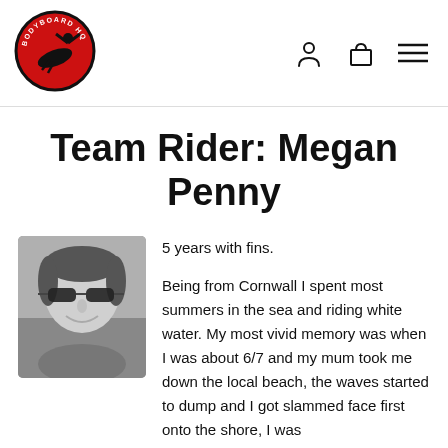[Figure (logo): Bodyboard HQ circular logo with red background and black silhouette of a bodyboarder]
Team Rider: Megan Penny
[Figure (photo): Black and white photo of Megan Penny wearing sunglasses, smiling]
5 years with fins.

Being from Cornwall I spent most summers in the sea and riding white water. My most vivid memory was when I was about 6/7 and my mum took me down the local beach, the waves started to dump and I got slammed face first onto the shore, I was